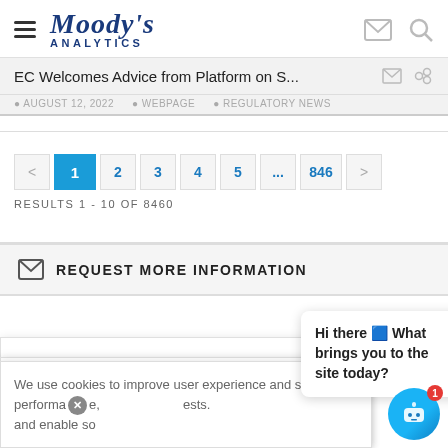[Figure (logo): Moody's Analytics logo with hamburger menu, envelope icon, and search icon]
EC Welcomes Advice from Platform on S...
AUGUST 12, 2022   WEBPAGE   REGULATORY NEWS
< 1 2 3 4 5 … 846 >
RESULTS 1 - 10 OF 8460
REQUEST MORE INFORMATION
We use cookies to improve user experience and site performance, and enable some essential functionality of this site. By continuing to use this site or clicking 'Accept Cookies' you consent to our requests.
Hi there 🤖 What brings you to the site today?